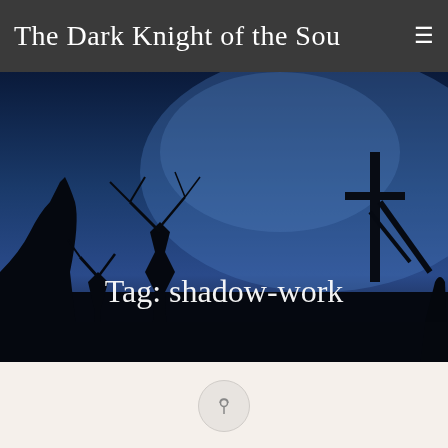The Dark Knight of the Soul
[Figure (photo): Dark atmospheric photo showing silhouettes of bare branches, crosses, and dark shapes against a deep blue night sky. Text overlay reads 'Tag: shadow-work']
Tag: shadow-work
[Figure (illustration): Small circular icon with a thumbtack/pin symbol on a light gray background]
Posted on December 30, 2020
My shadow